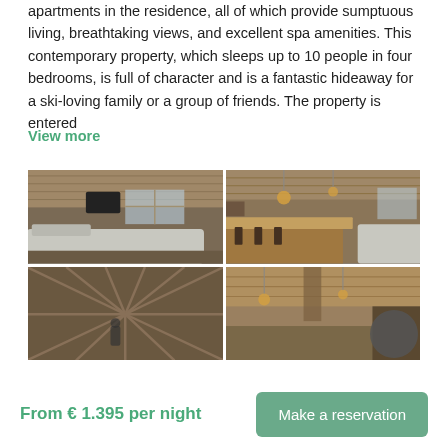apartments in the residence, all of which provide sumptuous living, breathtaking views, and excellent spa amenities. This contemporary property, which sleeps up to 10 people in four bedrooms, is full of character and is a fantastic hideaway for a ski-loving family or a group of friends. The property is entered
View more
[Figure (photo): 2x2 grid of interior photos of a luxury chalet/ski apartment with wooden interiors. Top-left: living room with sofas and TV. Top-right: bar/dining area with pendant lights. Bottom-left: wooden decorative surface. Bottom-right: ceiling with beams and pendant lights.]
From € 1.395 per night
Make a reservation